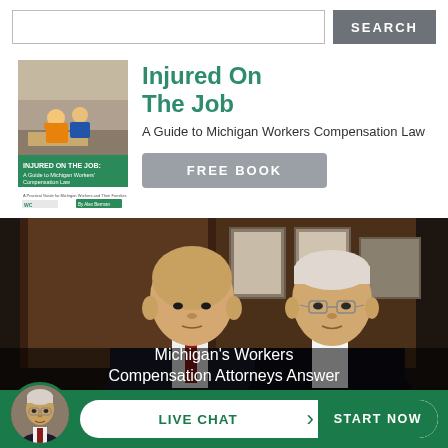SEARCH
[Figure (illustration): Book cover for 'Injured On The Job: A Guide to Michigan Workers Compensation Law' showing workers in safety gear, with WC logo and author name]
Injured On The Job
A Guide to Michigan Workers Compensation Law
FREE BOOK
[Figure (photo): Two male attorneys in suits posing in an office with framed certificates on the wall. Text overlay reads: Michigan's Workers Compensation Attorneys Answer]
LIVE CHAT  START NOW